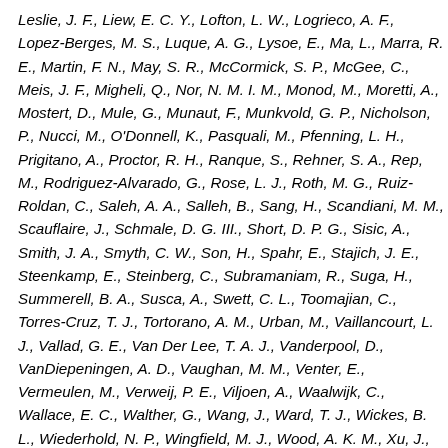Leslie, J. F., Liew, E. C. Y., Lofton, L. W., Logrieco, A. F., Lopez-Berges, M. S., Luque, A. G., Lysoe, E., Ma, L., Marra, R. E., Martin, F. N., May, S. R., McCormick, S. P., McGee, C., Meis, J. F., Migheli, Q., Nor, N. M. I. M., Monod, M., Moretti, A., Mostert, D., Mule, G., Munaut, F., Munkvold, G. P., Nicholson, P., Nucci, M., O'Donnell, K., Pasquali, M., Pfenning, L. H., Prigitano, A., Proctor, R. H., Ranque, S., Rehner, S. A., Rep, M., Rodriguez-Alvarado, G., Rose, L. J., Roth, M. G., Ruiz-Roldan, C., Saleh, A. A., Salleh, B., Sang, H., Scandiani, M. M., Scauflaire, J., Schmale, D. G. III., Short, D. P. G., Sisic, A., Smith, J. A., Smyth, C. W., Son, H., Spahr, E., Stajich, J. E., Steenkamp, E., Steinberg, C., Subramaniam, R., Suga, H., Summerell, B. A., Susca, A., Swett, C. L., Toomajian, C., Torres-Cruz, T. J., Tortorano, A. M., Urban, M., Vaillancourt, L. J., Vallad, G. E., Van Der Lee, T. A. J., Vanderpool, D., VanDiepeningen, A. D., Vaughan, M. M., Venter, E., Vermeulen, M., Verweij, P. E., Viljoen, A., Waalwijk, C., Wallace, E. C., Walther, G., Wang, J., Ward, T. J., Wickes, B. L., Wiederhold, N. P., Wingfield, M. J., Wood, A. K. M., Xu, J., Yang, X., Yli-Mattila, T., Yun, S., Zakaria,